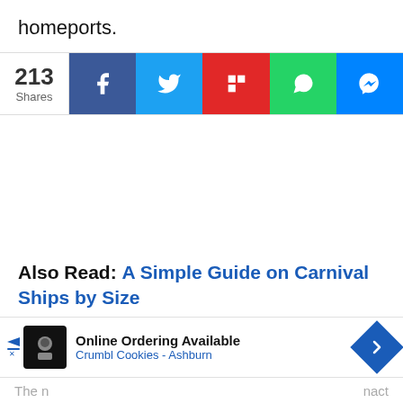homeports.
[Figure (screenshot): Social share bar showing 213 Shares with buttons for Facebook, Twitter, Flipboard, WhatsApp, and Messenger]
Also Read: A Simple Guide on Carnival Ships by Size
[Figure (screenshot): Advertisement banner: Online Ordering Available - Crumbl Cookies - Ashburn]
The n... ...nact